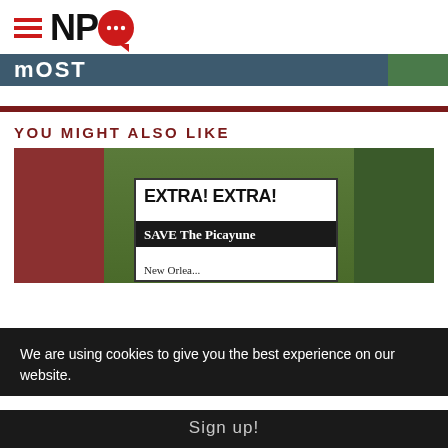NPQ
[Figure (screenshot): Partial banner image showing 'MOST' text on dark teal background with green foliage on right]
[Figure (photo): Photo of a sign reading 'EXTRA! EXTRA! SAVE The Picayune New Orle...' with red brick steps and green foliage in background]
YOU MIGHT ALSO LIKE
We are using cookies to give you the best experience on our website.
Sign up!